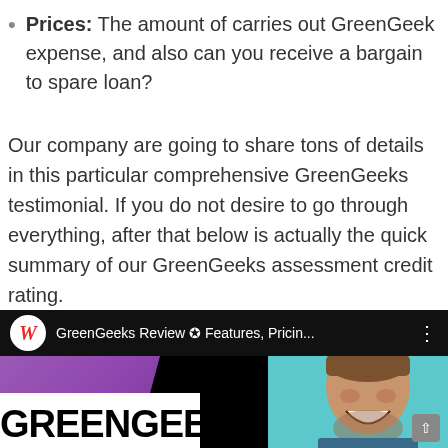Prices: The amount of carries out GreenGeek expense, and also can you receive a bargain to spare loan?
Our company are going to share tons of details in this particular comprehensive GreenGeeks testimonial. If you do not desire to go through everything, after that below is actually the quick summary of our GreenGeeks assessment credit rating.
[Figure (screenshot): Screenshot of a YouTube video titled 'GreenGeeks Review ✪ Features, Pricin...' with a thumbnail showing the GreenGeeks logo and a smiling man on a teal background.]